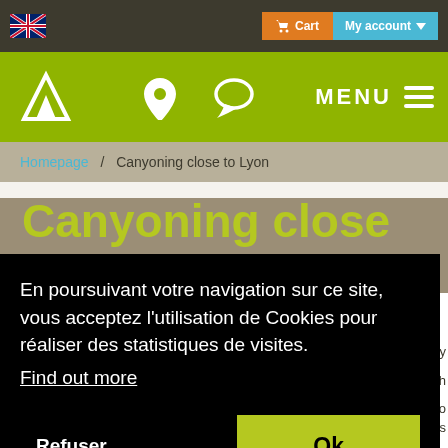Cart  My account
[Figure (logo): Outdoor sports company logo with white diamond/arrow shape on green background]
MENU
Homepage / Canyoning close to Lyon
Canyoning close to
En poursuivant votre navigation sur ce site, vous acceptez l'utilisation de Cookies pour réaliser des statistiques de visites.
Find out more
Refuser
Ok